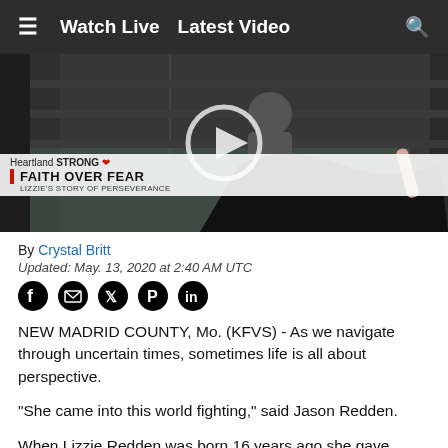≡   Watch Live   Latest Video
[Figure (screenshot): Video thumbnail showing a person crouching near a large black fabric/garment, with a news overlay bar reading 'Heartland STRONG ❤ FAITH OVER FEAR – LIZZIE'S STORY OF PERSEVERANCE'. A circular play button is visible in the center.]
By Crystal Britt
Updated: May. 13, 2020 at 2:40 AM UTC
[Figure (infographic): Social share icons: Facebook, Email, Twitter, Pinterest, LinkedIn]
NEW MADRID COUNTY, Mo. (KFVS) - As we navigate through uncertain times, sometimes life is all about perspective.
“She came into this world fighting,” said Jason Redden.
When Lizzie Redden was born 16 years ago she gave